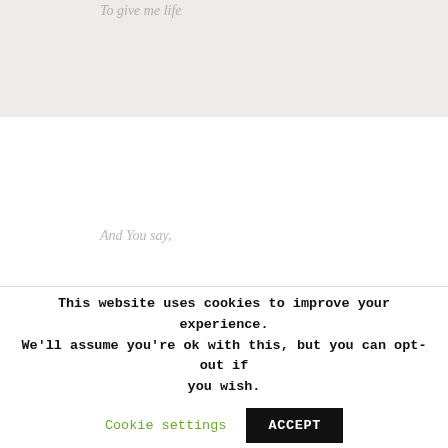To give me life
And You say,
“There’s Someone living inside you,
Though not a child, tucked inside your womb,
But my Holy Spirit, who conquered Jesus’ tomb.
This website uses cookies to improve your experience. We’ll assume you’re ok with this, but you can opt-out if you wish. Cookie settings ACCEPT